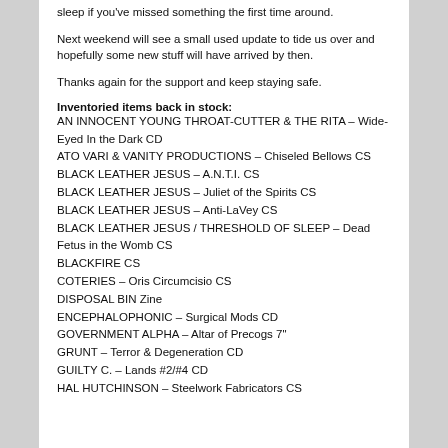sleep if you've missed something the first time around.
Next weekend will see a small used update to tide us over and hopefully some new stuff will have arrived by then.
Thanks again for the support and keep staying safe.
Inventoried items back in stock:
AN INNOCENT YOUNG THROAT-CUTTER & THE RITA – Wide-Eyed In the Dark CD
ATO VARI & VANITY PRODUCTIONS – Chiseled Bellows CS
BLACK LEATHER JESUS – A.N.T.I. CS
BLACK LEATHER JESUS – Juliet of the Spirits CS
BLACK LEATHER JESUS – Anti-LaVey CS
BLACK LEATHER JESUS / THRESHOLD OF SLEEP – Dead Fetus in the Womb CS
BLACKFIRE CS
COTERIES – Oris Circumcisio CS
DISPOSAL BIN Zine
ENCEPHALOPHONIC – Surgical Mods CD
GOVERNMENT ALPHA – Altar of Precogs 7"
GRUNT – Terror & Degeneration CD
GUILTY C. – Lands #2/#4 CD
HAL HUTCHINSON – Steelwork Fabricators CS